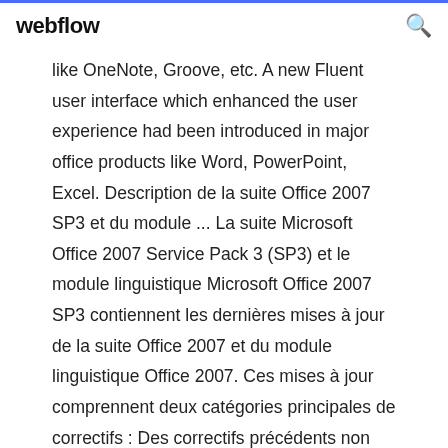webflow
like OneNote, Groove, etc. A new Fluent user interface which enhanced the user experience had been introduced in major office products like Word, PowerPoint, Excel. Description de la suite Office 2007 SP3 et du module ... La suite Microsoft Office 2007 Service Pack 3 (SP3) et le module linguistique Microsoft Office 2007 SP3 contiennent les dernières mises à jour de la suite Office 2007 et du module linguistique Office 2007. Ces mises à jour comprennent deux catégories principales de correctifs : Des correctifs précédents non publiés qui ont été conçus spécialement pour ce Service Pack. Outre les Installer Office 2007 - Microsoft Office Active Office 2007 Vous devez activer Office